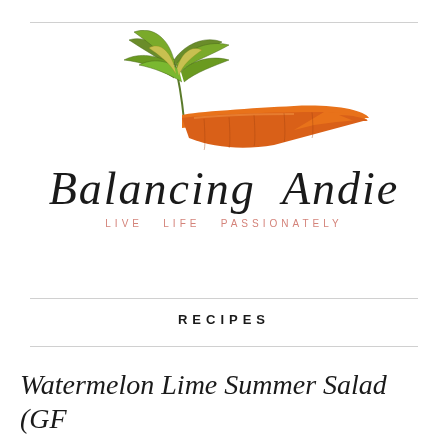[Figure (logo): Balancing Andie logo featuring an illustrated carrot with green leafy tops and the cursive text 'Balancing Andie' with tagline 'LIVE LIFE PASSIONATELY' in salmon/pink color]
RECIPES
Watermelon Lime Summer Salad (GF